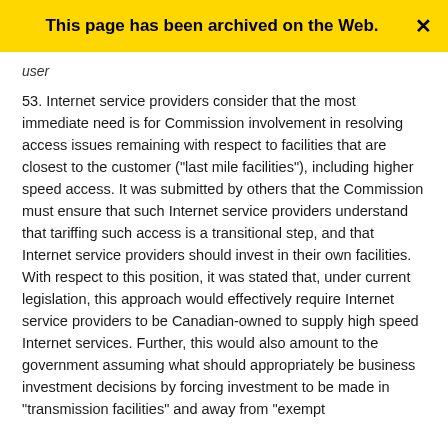This page has been archived on the Web.
user
53. Internet service providers consider that the most immediate need is for Commission involvement in resolving access issues remaining with respect to facilities that are closest to the customer ("last mile facilities"), including higher speed access. It was submitted by others that the Commission must ensure that such Internet service providers understand that tariffing such access is a transitional step, and that Internet service providers should invest in their own facilities. With respect to this position, it was stated that, under current legislation, this approach would effectively require Internet service providers to be Canadian-owned to supply high speed Internet services. Further, this would also amount to the government assuming what should appropriately be business investment decisions by forcing investment to be made in "transmission facilities" and away from "exempt